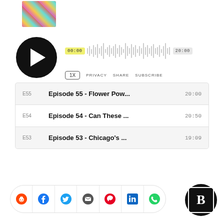[Figure (photo): Small colorful thumbnail image]
[Figure (screenshot): Podcast audio player with play button, waveform, timestamps 00:00 and 20:00, speed control 1X, and PRIVACY SHARE SUBSCRIBE links]
| Episode | Title | Duration |
| --- | --- | --- |
| E55 | Episode 55 - Flower Pow... | 20:00 |
| E54 | Episode 54 - Can These ... | 20:50 |
| E53 | Episode 53 - Chicago's ... | 19:09 |
[Figure (infographic): Social share bar with icons: Reddit, Facebook, Twitter, Email, Pinterest, LinkedIn, WhatsApp]
[Figure (logo): Bold B logo in black circle]